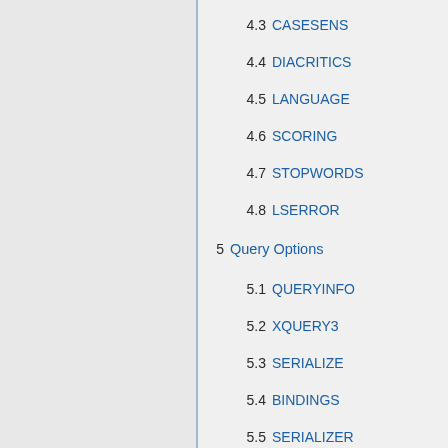4.3 CASESENS
4.4 DIACRITICS
4.5 LANGUAGE
4.6 SCORING
4.7 STOPWORDS
4.8 LSERROR
5  Query Options
5.1 QUERYINFO
5.2 XQUERY3
5.3 SERIALIZE
5.4 BINDINGS
5.5 SERIALIZER
5.6 EXPORTER
5.7 QUERYPATH
5.8 CACHEQUERY
5.9 FORCECREATE
5.10 RUNS
6  Serialization Options